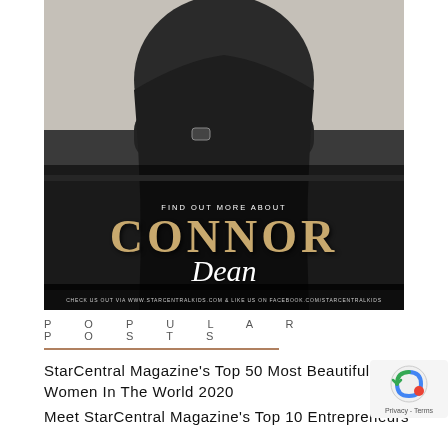[Figure (photo): Promotional photo of Connor Dean for StarCentralKids. Person wearing a black leather jacket with arms crossed. Text overlay reads 'FIND OUT MORE ABOUT CONNOR Dean'. Bottom bar: 'CHECK US OUT VIA WWW.STARCENTRALKIDS.COM & LIKE US ON FACEBOOK.COM/STARCENTRALKIDS']
POPULAR POSTS
StarCentral Magazine's Top 50 Most Beautiful Women In The World 2020
Meet StarCentral Magazine's Top 10 Entrepreneurs